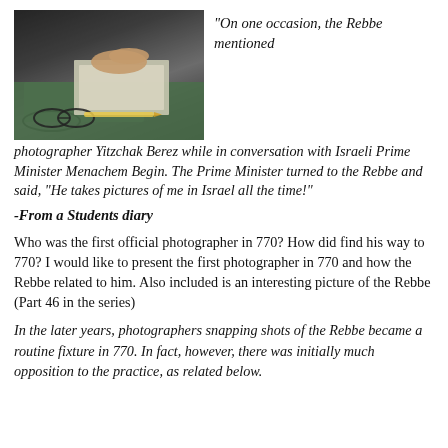[Figure (photo): Black and white photo of hands over papers on a green table with glasses and a pencil]
“On one occasion, the Rebbe mentioned photographer Yitzchak Berez while in conversation with Israeli Prime Minister Menachem Begin. The Prime Minister turned to the Rebbe and said, "He takes pictures of me in Israel all the time!"
-From a Students diary
Who was the first official photographer in 770? How did find his way to 770? I would like to present the first photographer in 770 and how the Rebbe related to him. Also included is an interesting picture of the Rebbe (Part 46 in the series)
In the later years, photographers snapping shots of the Rebbe became a routine fixture in 770. In fact, however, there was initially much opposition to the practice, as related below.